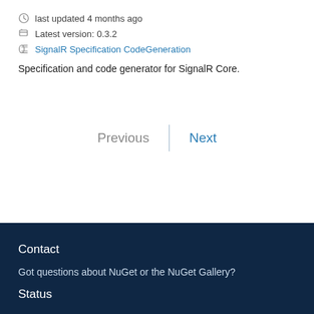last updated 4 months ago
Latest version: 0.3.2
SignalR Specification CodeGeneration
Specification and code generator for SignalR Core.
Previous | Next
Contact
Got questions about NuGet or the NuGet Gallery?
Status